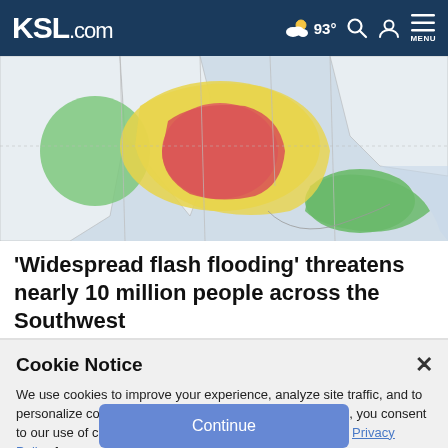KSL.com — 93° [weather icon] [search icon] [account icon] MENU
[Figure (map): Weather alert map of the southern United States showing flash flood risk zones colored in green (moderate), yellow (elevated), and red/pink (high risk) covering parts of the Southwest, Texas, and Gulf Coast regions.]
'Widespread flash flooding' threatens nearly 10 million people across the Southwest
Cookie Notice
We use cookies to improve your experience, analyze site traffic, and to personalize content and ads. By continuing to use our site, you consent to our use of cookies. Please visit our Terms of Use and Privacy Policy for more information.
Continue